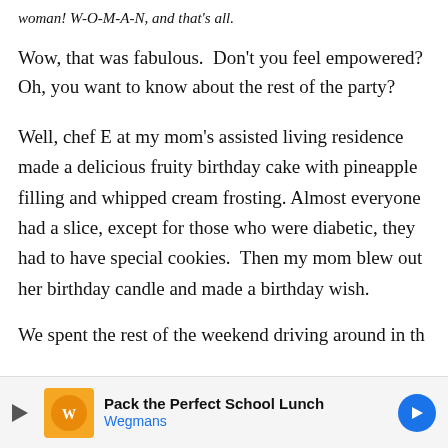woman! W-O-M-A-N, and that's all.
Wow, that was fabulous.  Don't you feel empowered?  Oh, you want to know about the rest of the party?
Well, chef E at my mom's assisted living residence made a delicious fruity birthday cake with pineapple filling and whipped cream frosting. Almost everyone had a slice, except for those who were diabetic, they had to have special cookies.  Then my mom blew out her birthday candle and made a birthday wish.
We spent the rest of the weekend driving around in th
[Figure (other): Advertisement banner for Wegmans: Pack the Perfect School Lunch]